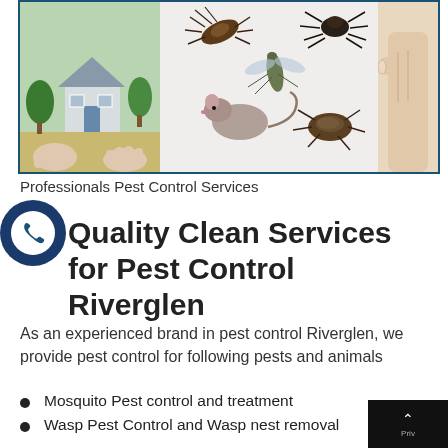[Figure (photo): Hero image showing hands holding a house model on the left, various pests (cockroaches, spiders, mosquito, rat) in the center, and a hand pointing on the right. Bordered with dark blue border.]
Professionals Pest Control Services
[Figure (illustration): Dark blue circle phone call button icon with white phone handset symbol inside a white circle]
Quality Clean Services for Pest Control Riverglen
As an experienced brand in pest control Riverglen, we provide pest control for following pests and animals
Mosquito Pest control and treatment
Wasp Pest Control and Wasp nest removal
Cockroach control and cockroach extermination
Spider Control and Spider webs removal
Rodent control, rat control and mice control